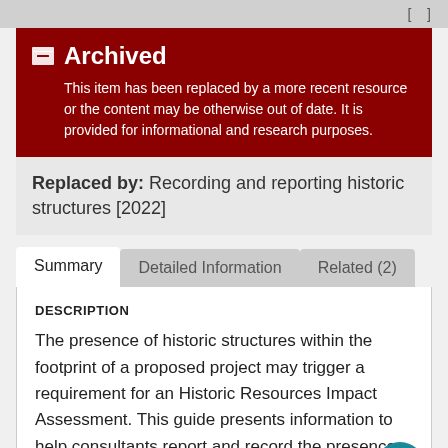[Figure (screenshot): Partial top navigation/header strip visible at very top of page]
Archived — This item has been replaced by a more recent resource or the content may be otherwise out of date. It is provided for informational and research purposes.
Replaced by: Recording and reporting historic structures [2022]
Summary | Detailed Information | Related (2)
DESCRIPTION
The presence of historic structures within the footprint of a proposed project may trigger a requirement for an Historic Resources Impact Assessment. This guide presents information to help consultants report and record the presence historic structures.